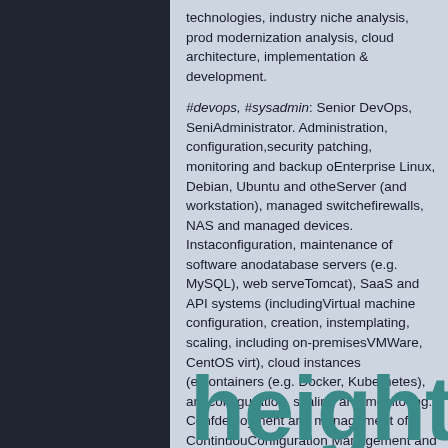technologies, industry niche analysis, product modernization analysis, cloud architecture, implementation & development.
#devops, #sysadmin: Senior DevOps, Senior Administrator. Administration, configuration, security patching, monitoring and backup of Enterprise Linux, Debian, Ubuntu and other Server (and workstation), managed switches, firewalls, NAS and managed devices. Installation, configuration, maintenance of software and database servers (e.g. MySQL), web servers (e.g. Tomcat), SaaS and API systems (including ...). Virtual machine configuration, creation, installation, templating, scaling, including on-premises (e.g. VMWare, CentOS virt), cloud instances (e.g. ...), containers (e.g. Docker, Kubernetes), and their configuration, scaling and monitoring. Configuration, deployment and management of Continuous ..., Configuration Management and Version Co...
[Figure (logo): Partial brand/logo text reading 'height' in teal rounded font at the bottom of the page]